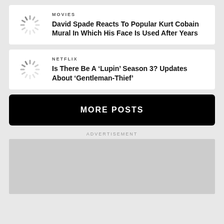[Figure (other): Loading spinner icon]
MOVIES
David Spade Reacts To Popular Kurt Cobain Mural In Which His Face Is Used After Years
[Figure (other): Loading spinner icon]
NETFLIX
Is There Be A ‘Lupin’ Season 3? Updates About ‘Gentleman-Thief’
MORE POSTS
ADVERTISEMENT
[Figure (other): Advertisement placeholder box (gray)]